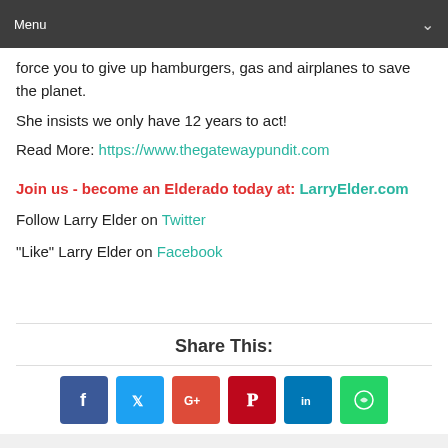Menu
force you to give up hamburgers, gas and airplanes to save the planet.
She insists we only have 12 years to act!
Read More: https://www.thegatewaypundit.com
Join us - become an Elderado today at: LarryElder.com
Follow Larry Elder on Twitter
"Like" Larry Elder on Facebook
Share This:
[Figure (infographic): Social share buttons: Facebook, Twitter, Google+, Pinterest, LinkedIn, WhatsApp]